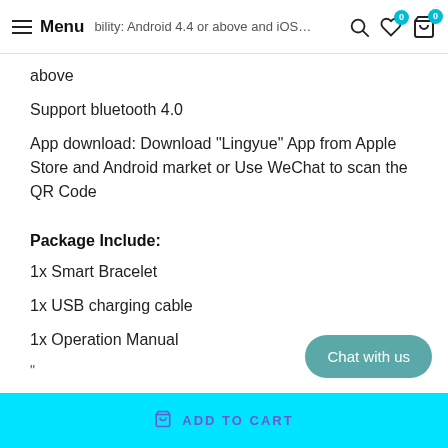Menu | bility: Android 4.4 or above and iOS … above
above
Support bluetooth 4.0
App download: Download "Lingyue" App from Apple Store and Android market or Use WeChat to scan the QR Code
Package Include:
1x Smart Bracelet
1x USB charging cable
1x Operation Manual
"
Our Recommended...
Chat with us
ADD TO CART